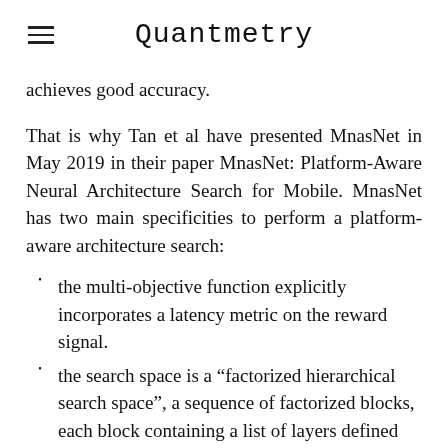Quantmetry
achieves good accuracy.
That is why Tan et al have presented MnasNet in May 2019 in their paper MnasNet: Platform-Aware Neural Architecture Search for Mobile. MnasNet has two main specificities to perform a platform-aware architecture search:
the multi-objective function explicitly incorporates a latency metric on the reward signal.
the search space is a “factorized hierarchical search space”, a sequence of factorized blocks, each block containing a list of layers defined by a hierarchical sub search